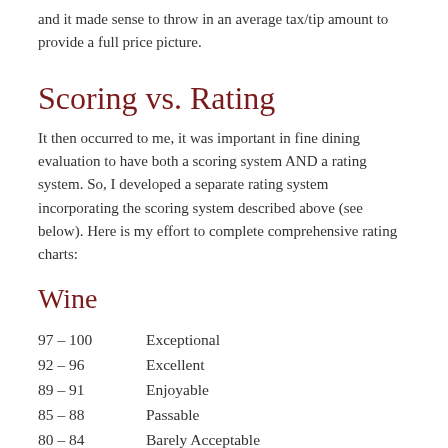and it made sense to throw in an average tax/tip amount to provide a full price picture.
Scoring vs. Rating
It then occurred to me, it was important in fine dining evaluation to have both a scoring system AND a rating system. So, I developed a separate rating system incorporating the scoring system described above (see below). Here is my effort to complete comprehensive rating charts:
Wine
| Score | Rating |
| --- | --- |
| 97 – 100 | Exceptional |
| 92 – 96 | Excellent |
| 89 – 91 | Enjoyable |
| 85 – 88 | Passable |
| 80 – 84 | Barely Acceptable |